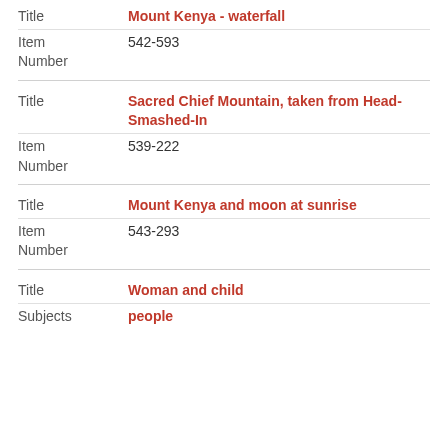| Field | Value |
| --- | --- |
| Title | Mount Kenya - waterfall |
| Item Number | 542-593 |
| Title | Sacred Chief Mountain, taken from Head-Smashed-In |
| Item Number | 539-222 |
| Title | Mount Kenya and moon at sunrise |
| Item Number | 543-293 |
| Title | Woman and child |
| Subjects | people |